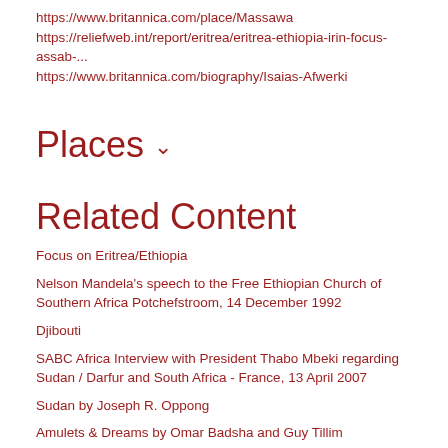https://www.britannica.com/place/Massawa
https://reliefweb.int/report/eritrea/eritrea-ethiopia-irin-focus-assab-...
https://www.britannica.com/biography/Isaias-Afwerki
Places
Related Content
Focus on Eritrea/Ethiopia
Nelson Mandela's speech to the Free Ethiopian Church of Southern Africa Potchefstroom, 14 December 1992
Djibouti
SABC Africa Interview with President Thabo Mbeki regarding Sudan / Darfur and South Africa - France, 13 April 2007
Sudan by Joseph R. Oppong
Amulets & Dreams by Omar Badsha and Guy Tillim